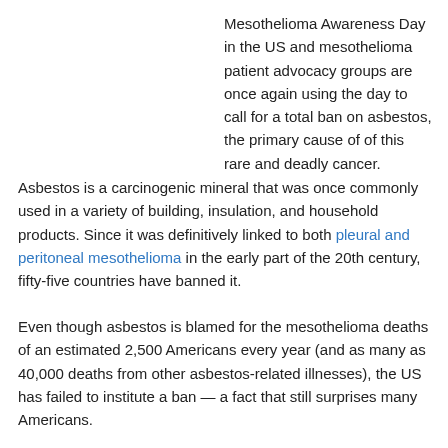Mesothelioma Awareness Day in the US and mesothelioma patient advocacy groups are once again using the day to call for a total ban on asbestos, the primary cause of of this rare and deadly cancer.
Asbestos is a carcinogenic mineral that was once commonly used in a variety of building, insulation, and household products. Since it was definitively linked to both pleural and peritoneal mesothelioma in the early part of the 20th century, fifty-five countries have banned it.
Even though asbestos is blamed for the mesothelioma deaths of an estimated 2,500 Americans every year (and as many as 40,000 deaths from other asbestos-related illnesses), the US has failed to institute a ban — a fact that still surprises many Americans.